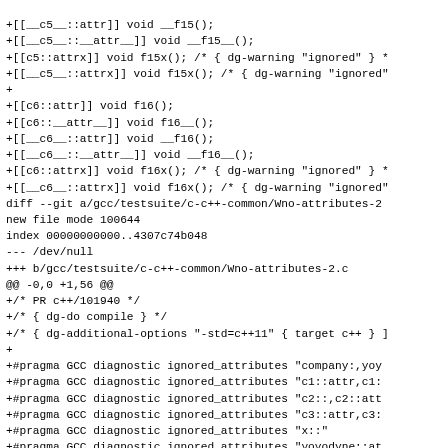+[[__c5__::attr]] void __f15();
+[[__c5__::__attr__]] void __f15__();
+[[c5::attrx]] void f15x(); /* { dg-warning "ignored" } *
+[[__c5__::attrx]] void f15x(); /* { dg-warning "ignored"
+
+[[c6::attr]] void f16();
+[[c6::__attr__]] void f16__();
+[[__c6__::attr]] void __f16();
+[[__c6__::__attr__]] void __f16__();
+[[c6::attrx]] void f16x(); /* { dg-warning "ignored" } *
+[[__c6__::attrx]] void f16x(); /* { dg-warning "ignored"
diff --git a/gcc/testsuite/c-c++-common/Wno-attributes-2
new file mode 100644
index 00000000000..4307c74b048
--- /dev/null
+++ b/gcc/testsuite/c-c++-common/Wno-attributes-2.c
@@ -0,0 +1,56 @@
+/* PR c++/101940 */
+/* { dg-do compile } */
+/* { dg-additional-options "-std=c++11" { target c++ } ]
+
+#pragma GCC diagnostic ignored_attributes "company:,yoy
+#pragma GCC diagnostic ignored_attributes "c1::attr,c1:
+#pragma GCC diagnostic ignored_attributes "c2::,c2::att
+#pragma GCC diagnostic ignored_attributes "c3::attr,c3:
+#pragma GCC diagnostic ignored_attributes "x::"
+#pragma GCC diagnostic ignored_attributes "yoyodyne::at
+#pragma GCC diagnostic ignored_attributes "c4::__attr__
+#pragma GCC diagnostic ignored_attributes "c5::attr"
+#pragma GCC diagnostic ignored_attributes "__c6__::attr'